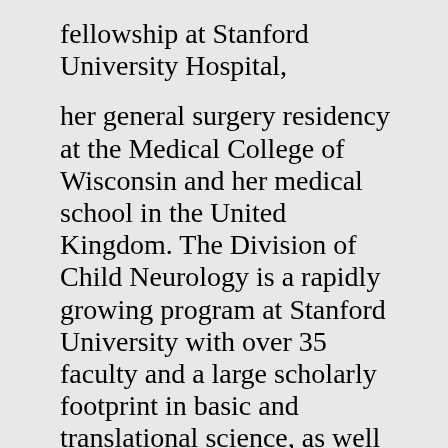fellowship at Stanford University Hospital, her general surgery residency at the Medical College of Wisconsin and her medical school in the United Kingdom. The Division of Child Neurology is a rapidly growing program at Stanford University with over 35 faculty and a large scholarly footprint in basic and translational science, as well as investigator-initiated clinical trials and correlative research, which